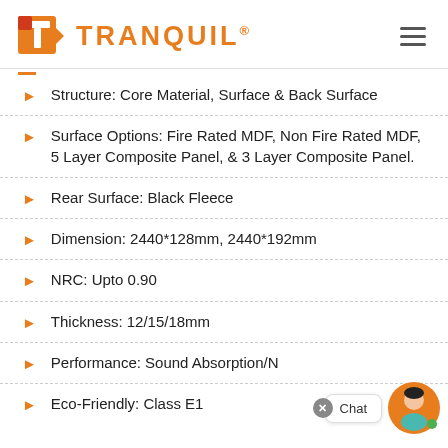TRANQUIL®
Structure: Core Material, Surface & Back Surface
Surface Options: Fire Rated MDF, Non Fire Rated MDF, 5 Layer Composite Panel, & 3 Layer Composite Panel.
Rear Surface: Black Fleece
Dimension: 2440*128mm, 2440*192mm
NRC: Upto 0.90
Thickness: 12/15/18mm
Performance: Sound Absorption/Noise Redu...
Eco-Friendly: Class E1